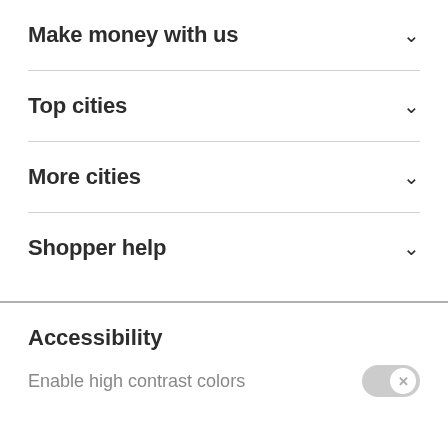Make money with us
Top cities
More cities
Shopper help
Accessibility
Enable high contrast colors